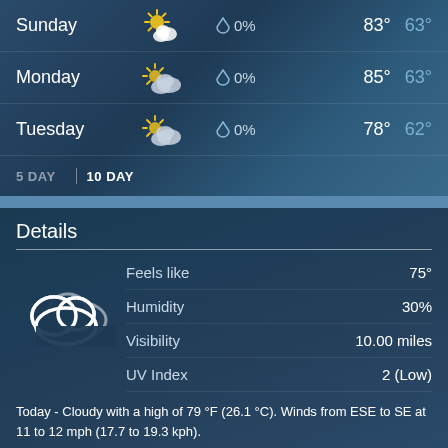| Day | Condition | Precip | High | Low |
| --- | --- | --- | --- | --- |
| Sunday | Partly Cloudy | 0% | 83° | 63° |
| Monday | Mostly Cloudy | 0% | 85° | 63° |
| Tuesday | Partly Cloudy | 0% | 78° | 62° |
5 DAY | 10 DAY
Details
| Detail | Value |
| --- | --- |
| Feels like | 75° |
| Humidity | 30% |
| Visibility | 10.00 miles |
| UV Index | 2 (Low) |
Today - Cloudy with a high of 79 °F (26.1 °C). Winds from ESE to SE at 11 to 12 mph (17.7 to 19.3 kph).
Tonight - Cloudy. Winds variable at 8 to 11 mph (12.9 to 17.7 kph). The overnight low will be 62 °F (16.7 °C).